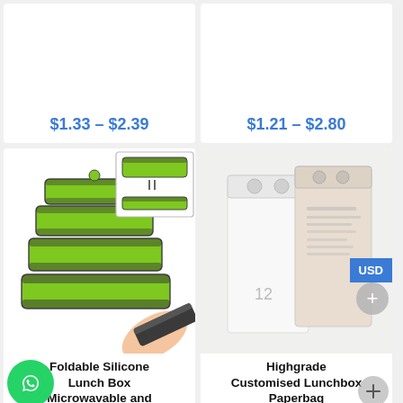$1.33 – $2.39
$1.21 – $2.80
[Figure (photo): Green foldable silicone lunch box containers stacked and shown folded flat, with a hand holding a collapsed container]
Foldable Silicone Lunch Box Microwavable and
[Figure (photo): Two paper lunch bags, one white and one beige/kraft, standing upright with small circular clips at the top]
Highgrade Customised Lunchbox Paperbag